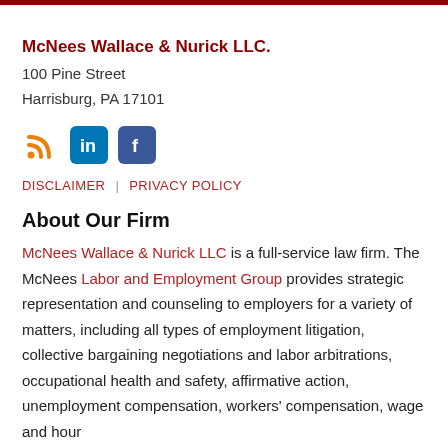McNees Wallace & Nurick LLC.
100 Pine Street
Harrisburg, PA 17101
[Figure (infographic): Social media icons: RSS feed (orange), LinkedIn (blue), Facebook (dark blue)]
DISCLAIMER | PRIVACY POLICY
About Our Firm
McNees Wallace & Nurick LLC is a full-service law firm. The McNees Labor and Employment Group provides strategic representation and counseling to employers for a variety of matters, including all types of employment litigation, collective bargaining negotiations and labor arbitrations, occupational health and safety, affirmative action, unemployment compensation, workers' compensation, wage and hour